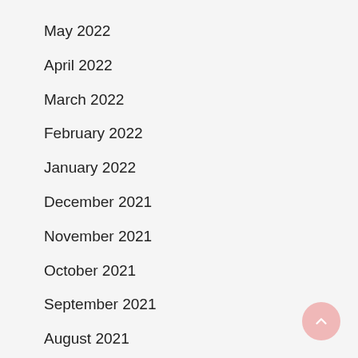May 2022
April 2022
March 2022
February 2022
January 2022
December 2021
November 2021
October 2021
September 2021
August 2021
July 2021
June 2021